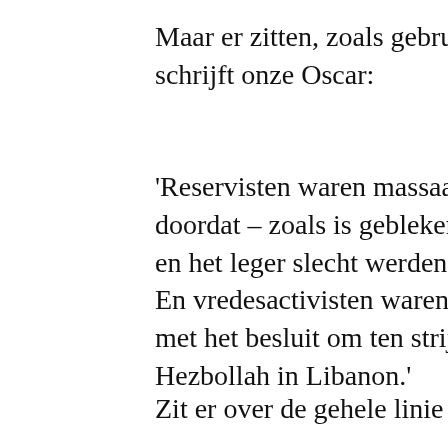Maar er zitten, zoals gebruikelijk, n schrijft onze Oscar:
'Reservisten waren massaal komen doordat – zoals is gebleken uit het en het leger slecht werden geleid. En vredesactivisten waren naar Tel met het besluit om ten strijde te tre Hezbollah in Libanon.'
Zit er over de gehele linie een weze